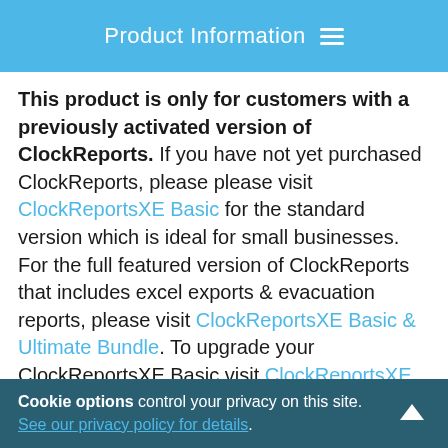Product Information
This product is only for customers with a previously activated version of ClockReports. If you have not yet purchased ClockReports, please please visit ClockReportsXE Basic for the standard version which is ideal for small businesses. For the full featured version of ClockReports that includes excel exports & evacuation reports, please visit ClockReportsXE Basic & Ultimate Bundle. To upgrade your ClockReportsXE Basic visit ClockReportsXE Ultimate.
Cookie options control your privacy on this site. See our privacy policy for details.